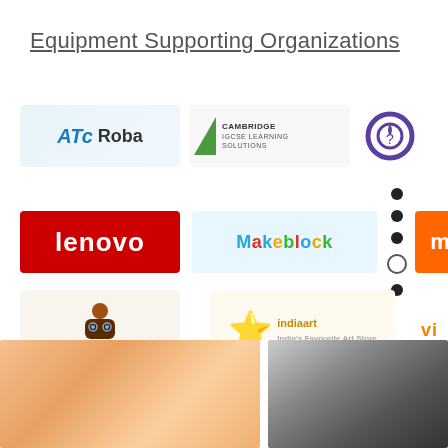Equipment Supporting Organizations
[Figure (logo): ATC Roba logo - blue stylized letters with robot figure]
[Figure (logo): Cambridge IGCSE Learning Solutions logo with green triangle]
[Figure (logo): Gear/lightbulb icon logo - purple circular design]
[Figure (logo): Lenovo logo - red background with white text]
[Figure (logo): Makeblock logo - colorful text on light blue]
[Figure (logo): mi (Xiaomi) partial logo - orange/red]
[Figure (logo): Smart Kiddo robot logo - brown robot icon]
[Figure (logo): Indiaart star logo - orange star with text]
[Figure (logo): Partial orange/coral logo bottom left]
[Figure (logo): Partial grayscale logo bottom right]